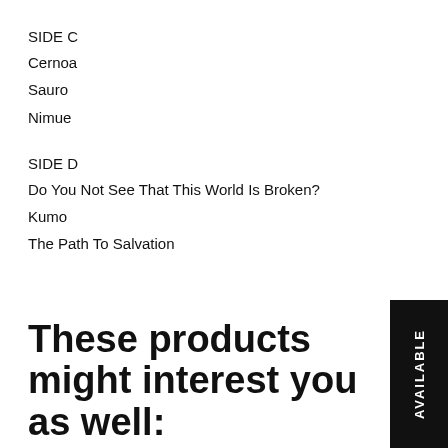SIDE C
Cernoa
Sauro
Nimue
SIDE D
Do You Not See That This World Is Broken?
Kumo
The Path To Salvation
These products might interest you as well: